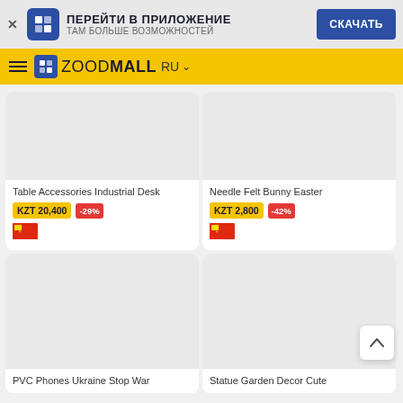ПЕРЕЙТИ В ПРИЛОЖЕНИЕ — ТАМ БОЛЬШЕ ВОЗМОЖНОСТЕЙ | СКАЧАТЬ
ZOODMALL RU
Table Accessories Industrial Desk
KZT 20,400 -29%
Needle Felt Bunny Easter
KZT 2,800 -42%
PVC Phones Ukraine Stop War
Statue Garden Decor Cute